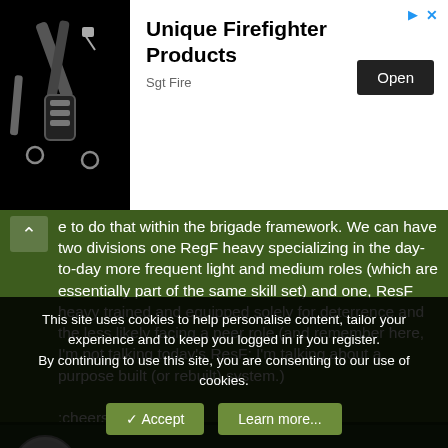[Figure (illustration): Advertisement banner for Unique Firefighter Products by Sgt Fire, showing firefighter gear/straps on black background with Open button]
e to do that within the brigade framework. We can have two divisions one RegF heavy specializing in the day-to-day more frequent light and medium roles (which are essentially part of the same skill set) and one, ResF heavy trained and equipped solely for deterrence and the less likely facing a peer role (and remember here, I'm not talking today's ResF; I'm talking about a purpose built (or rebuilt) system.)

:cheers:
MilEME09
Army.ca Fixture
This site uses cookies to help personalise content, tailor your experience and to keep you logged in if you register.
By continuing to use this site, you are consenting to our use of cookies.